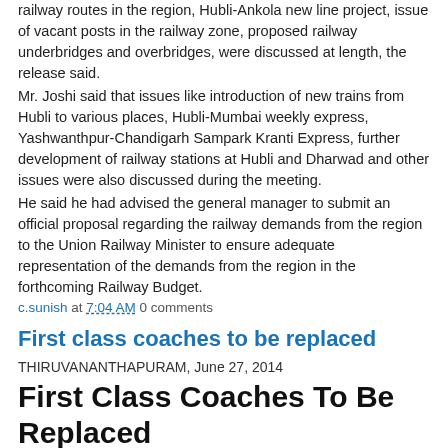railway routes in the region, Hubli-Ankola new line project, issue of vacant posts in the railway zone, proposed railway underbridges and overbridges, were discussed at length, the release said.
Mr. Joshi said that issues like introduction of new trains from Hubli to various places, Hubli-Mumbai weekly express, Yashwanthpur-Chandigarh Sampark Kranti Express, further development of railway stations at Hubli and Dharwad and other issues were also discussed during the meeting.
He said he had advised the general manager to submit an official proposal regarding the railway demands from the region to the Union Railway Minister to ensure adequate representation of the demands from the region in the forthcoming Railway Budget.
c.sunish at 7:04 AM 0 comments
First class coaches to be replaced
THIRUVANANTHAPURAM, June 27, 2014
First Class Coaches To Be Replaced
Special Correspondent
c.sunish at 7:02 AM 0 comments
Rajdhani derailment